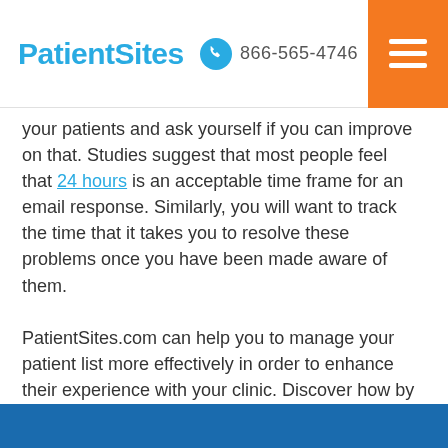PatientSites | 866-565-4746
your patients and ask yourself if you can improve on that. Studies suggest that most people feel that 24 hours is an acceptable time frame for an email response. Similarly, you will want to track the time that it takes you to resolve these problems once you have been made aware of them.
PatientSites.com can help you to manage your patient list more effectively in order to enhance their experience with your clinic. Discover how by requesting your free 15 minute demonstration today.
Posted on 2015-09-01